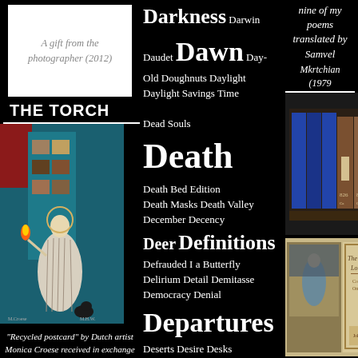A gift from the photographer (2012)
THE TORCH
[Figure (illustration): Recycled postcard artwork showing a robed figure holding a torch, by Dutch artist Monica Croese]
"Recycled postcard" by Dutch artist Monica Croese received in exchange for No Time to Cut My Hair
[Figure (photo): Bottom photo, partially visible]
Darkness Darwin Daudet Dawn Day-Old Doughnuts Daylight Daylight Savings Time Dead Souls Death Death Bed Edition Death Masks Death Valley December Decency Deer Definitions Defrauded I a Butterfly Delirium Detail Demitasse Democracy Denial Departures Deserts Desire Desks Despair Desperation Destiny Destroyers Details Dew D Hill Diane Diaries Dickens Dictators Dictionaries Diet Digging Digression Dinuba Discipline Distance Distraction
nine of my poems translated by Samvel Mkrtchian (1979)
[Figure (photo): Photo of book spines on a shelf labeled 826]
[Figure (photo): Photo of The Works of Lord Byron book and illustration]
The Works of Lord Byron, 1900.
[Figure (photo): Nature photo showing wooden fence with green ivy/vines]